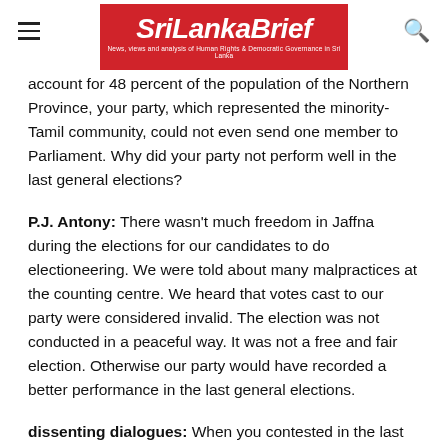SriLankaBrief — News, views and analysis of Human Rights & Democratic Governance in Sri Lanka
account for 48 percent of the population of the Northern Province, your party, which represented the minority-Tamil community, could not even send one member to Parliament. Why did your party not perform well in the last general elections?
P.J. Antony: There wasn't much freedom in Jaffna during the elections for our candidates to do electioneering. We were told about many malpractices at the counting centre. We heard that votes cast to our party were considered invalid. The election was not conducted in a peaceful way. It was not a free and fair election. Otherwise our party would have recorded a better performance in the last general elections.
dissenting dialogues: When you contested in the last parliamentary elections, some Tamil nationalists said you were backed by the United People's Freedom Alliance government in order to split Tamil votes in the North along